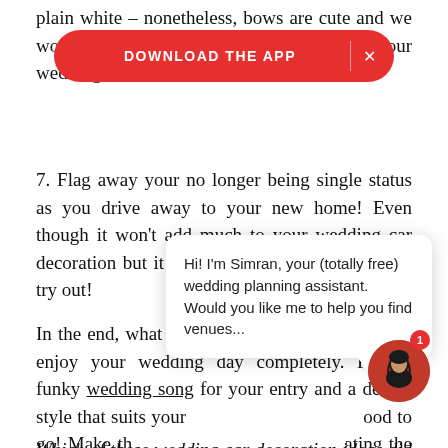plain white – nonetheless, bows are cute and we would be thinking of your wedding car decoration ideas
[Figure (screenshot): Red pill-shaped app download banner with text 'DOWNLOAD THE APP' and an X close button]
7. Flag away your no longer being single status as you drive away to your new home! Even though it won't add much to your wedding car decoration but it definitely is a cool gimmick to try out!
In the end, what matters most is that you should enjoy your wedding day completely. Pick a funky wedding song for your entry and a design style that suits your good to go! Make the ating the various t rate your Shaadi Ki
[Figure (screenshot): Chat popup from Simran wedding assistant saying: Hi! I'm Simran, your (totally free) wedding planning assistant. Would you like me to help you find venues...]
Which of these wedding car decoration ideas did you